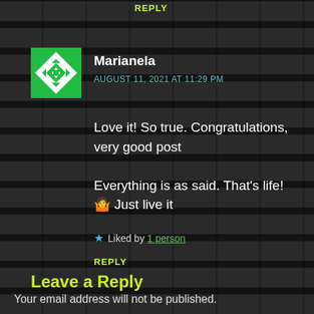REPLY
[Figure (logo): Green and white geometric/diamond pattern logo avatar for user Marianela]
Marianela
AUGUST 11, 2021 AT 11:29 PM
Love it! So true. Congratulations, very good post

Everything is as said. That’s life! 🤷 Just live it
★ Liked by 1 person
REPLY
Leave a Reply
Your email address will not be published.